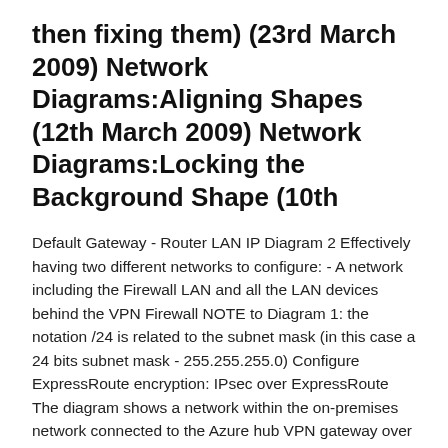then fixing them) (23rd March 2009) Network Diagrams:Aligning Shapes (12th March 2009) Network Diagrams:Locking the Background Shape (10th
Default Gateway - Router LAN IP Diagram 2 Effectively having two different networks to configure: - A network including the Firewall LAN and all the LAN devices behind the VPN Firewall NOTE to Diagram 1: the notation /24 is related to the subnet mask (in this case a 24 bits subnet mask - 255.255.255.0) Configure ExpressRoute encryption: IPsec over ExpressRoute The diagram shows a network within the on-premises network connected to the Azure hub VPN gateway over ExpressRoute private peering. The connectivity establishment is straightforward: Establish ExpressRoute connectivity with an ExpressRoute circuit and private peering. "Sharing" a VPN remote subnet thru local VLAN - Networking Jan 13, 2020